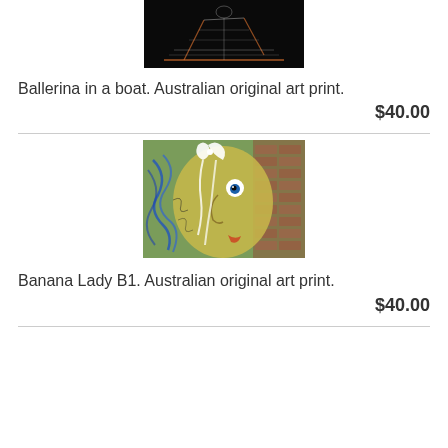[Figure (photo): Partial view of a dark artwork showing a ballerina in a boat, cropped at top of page]
Ballerina in a boat. Australian original art print.
$40.00
[Figure (photo): Colorful abstract painting of Banana Lady B1, showing a stylized face with blue and yellow tones against a brick background]
Banana Lady B1. Australian original art print.
$40.00